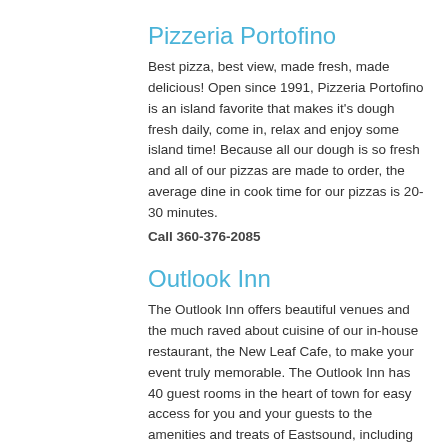Pizzeria Portofino
Best pizza, best view, made fresh, made delicious! Open since 1991, Pizzeria Portofino is an island favorite that makes it's dough fresh daily, come in, relax and enjoy some island time! Because all our dough is so fresh and all of our pizzas are made to order, the average dine in cook time for our pizzas is 20-30 minutes.
Call 360-376-2085
Outlook Inn
The Outlook Inn offers beautiful venues and the much raved about cuisine of our in-house restaurant, the New Leaf Cafe, to make your event truly memorable. The Outlook Inn has 40 guest rooms in the heart of town for easy access for you and your guests to the amenities and treats of Eastsound, including our independent bookstore, perfect espresso, buttery flaky croissants, and splurge worthy boutiques.
Call 360-376-2200